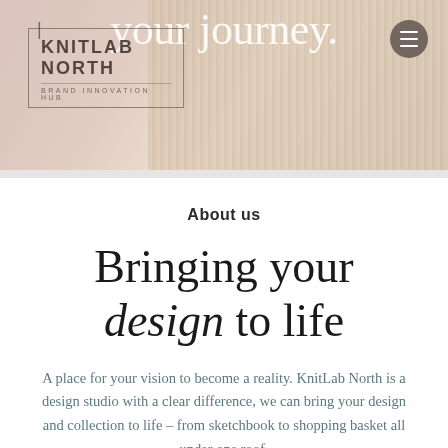[Figure (photo): Header banner with 'your journey.' text, KnitLab North logo, knitted fabric texture background, and hamburger menu icon]
About us
Bringing your design to life
A place for your vision to become a reality. KnitLab North is a design studio with a clear difference, we can bring your design and collection to life – from sketchbook to shopping basket all under one roof.